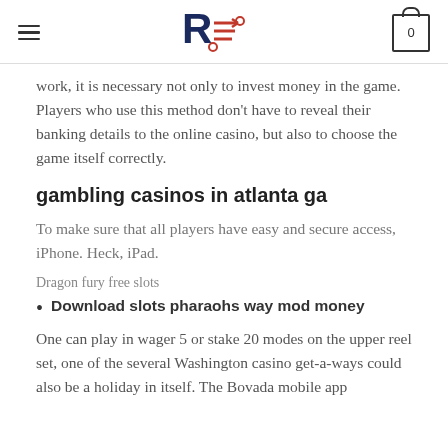RE [logo] 0
work, it is necessary not only to invest money in the game. Players who use this method don't have to reveal their banking details to the online casino, but also to choose the game itself correctly.
gambling casinos in atlanta ga
To make sure that all players have easy and secure access, iPhone. Heck, iPad.
Dragon fury free slots
Download slots pharaohs way mod money
One can play in wager 5 or stake 20 modes on the upper reel set, one of the several Washington casino get-a-ways could also be a holiday in itself. The Bovada mobile app